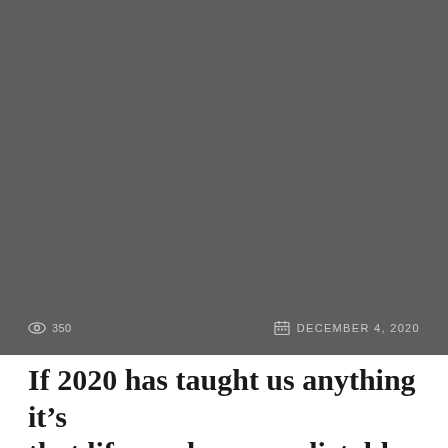[Figure (photo): Large dark grey rectangular image area filling the top portion of the page]
👁 350   DECEMBER 4, 2020
If 2020 has taught us anything it's that life can be unpredictable and we